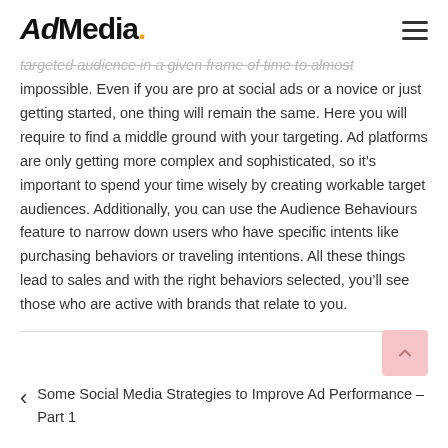AdMedia.
targeted audience in a given frame of time to almost impossible. Even if you are pro at social ads or a novice or just getting started, one thing will remain the same. Here you will require to find a middle ground with your targeting. Ad platforms are only getting more complex and sophisticated, so it’s important to spend your time wisely by creating workable target audiences. Additionally, you can use the Audience Behaviours feature to narrow down users who have specific intents like purchasing behaviors or traveling intentions. All these things lead to sales and with the right behaviors selected, you’ll see those who are active with brands that relate to you.
Some Social Media Strategies to Improve Ad Performance – Part 1